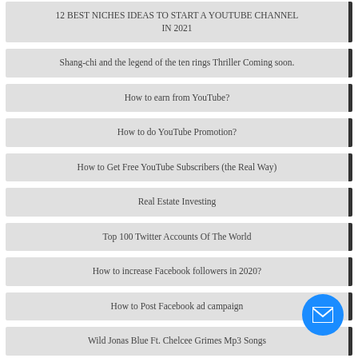12 BEST NICHES IDEAS TO START A YOUTUBE CHANNEL IN 2021
Shang-chi and the legend of the ten rings Thriller Coming soon.
How to earn from YouTube?
How to do YouTube Promotion?
How to Get Free YouTube Subscribers (the Real Way)
Real Estate Investing
Top 100 Twitter Accounts Of The World
How to increase Facebook followers in 2020?
How to Post Facebook ad campaign
Wild Jonas Blue Ft. Chelcee Grimes Mp3 Songs